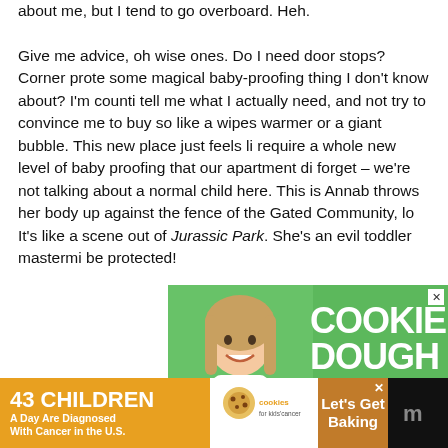about me, but I tend to go overboard. Heh. Give me advice, oh wise ones. Do I need door stops? Corner protectors? Is there some magical baby-proofing thing I don't know about? I'm counting on you to tell me what I actually need, and not try to convince me to buy something useless like a wipes warmer or a giant bubble. This new place just feels like it's going to require a whole new level of baby proofing that our apartment did not. And don't forget – we're not talking about a normal child here. This is Annabelle, who throws her body up against the fence of the Gated Community, looking for weak spots. It's like a scene out of Jurassic Park. She's an evil toddler mastermind. WE must be protected!
[Figure (photo): Advertisement showing a smiling young girl holding a jar of money against a green background with large white text reading COOKIE DOUGH and subtitle Childhood cancer didn't stop for]
[Figure (photo): Bottom banner advertisement on black background: orange left section reading 43 CHILDREN A Day Are Diagnosed With Cancer in the U.S., middle white section with cookies for kids cancer logo, brown right section reading Let's Get Baking, far right dark section with logo]